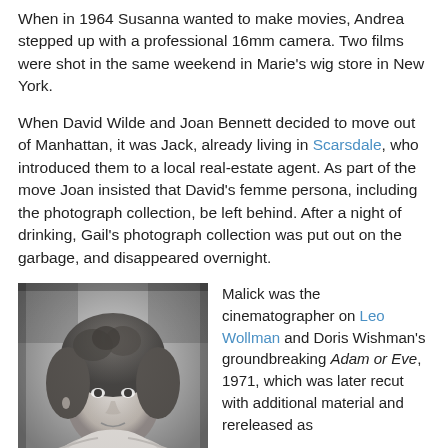When in 1964 Susanna wanted to make movies, Andrea stepped up with a professional 16mm camera. Two films were shot in the same weekend in Marie's wig store in New York.
When David Wilde and Joan Bennett decided to move out of Manhattan, it was Jack, already living in Scarsdale, who introduced them to a local real-estate agent. As part of the move Joan insisted that David's femme persona, including the photograph collection, be left behind. After a night of drinking, Gail's photograph collection was put out on the garbage, and disappeared overnight.
[Figure (photo): Black and white photograph of a person with curly/wavy hair, appearing to wear a light-colored top, facing slightly to the side.]
Malick was the cinematographer on Leo Wollman and Doris Wishman's groundbreaking Adam or Eve, 1971, which was later recut with additional material and rereleased as